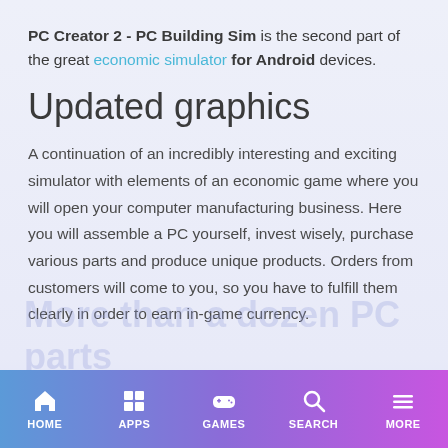PC Creator 2 - PC Building Sim is the second part of the great economic simulator for Android devices.
Updated graphics
A continuation of an incredibly interesting and exciting simulator with elements of an economic game where you will open your computer manufacturing business. Here you will assemble a PC yourself, invest wisely, purchase various parts and produce unique products. Orders from customers will come to you, so you have to fulfill them clearly in order to earn in-game currency.
HOME  APPS  GAMES  SEARCH  MORE